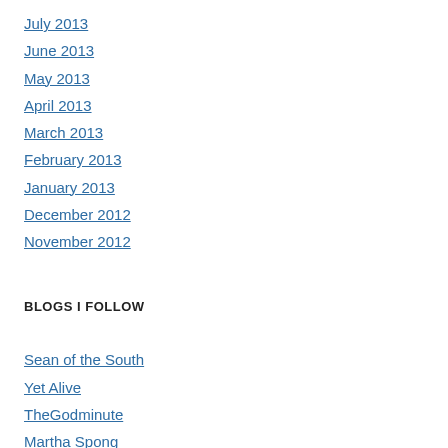July 2013
June 2013
May 2013
April 2013
March 2013
February 2013
January 2013
December 2012
November 2012
BLOGS I FOLLOW
Sean of the South
Yet Alive
TheGodminute
Martha Spong
Families Across Time
Tim's Blog - Just One Train Wreck After Another